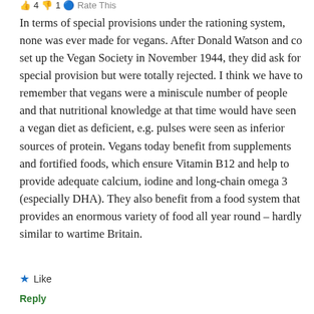👍 4 👎 1 🔵 Rate This
In terms of special provisions under the rationing system, none was ever made for vegans. After Donald Watson and co set up the Vegan Society in November 1944, they did ask for special provision but were totally rejected. I think we have to remember that vegans were a miniscule number of people and that nutritional knowledge at that time would have seen a vegan diet as deficient, e.g. pulses were seen as inferior sources of protein. Vegans today benefit from supplements and fortified foods, which ensure Vitamin B12 and help to provide adequate calcium, iodine and long-chain omega 3 (especially DHA). They also benefit from a food system that provides an enormous variety of food all year round – hardly similar to wartime Britain.
★ Like
Reply